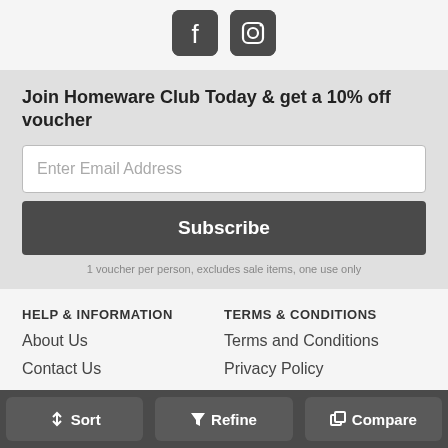[Figure (illustration): Facebook and Instagram social media icons in dark rounded square buttons]
Join Homeware Club Today & get a 10% off voucher
Enter Email Address
Subscribe
1 voucher per person, excludes sale items, one use only
HELP & INFORMATION
About Us
Contact Us
Blog
TERMS & CONDITIONS
Terms and Conditions
Privacy Policy
Free Delivery Info
Sort   Refine   Compare